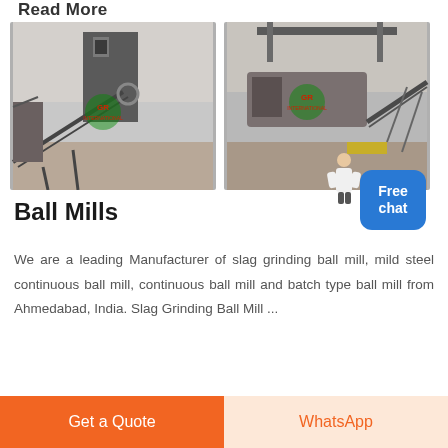Read More
[Figure (photo): Two industrial ball mill machine installations photographed outdoors, showing heavy steel grinding equipment with conveyor structures. Both images have a green logo watermark overlay.]
Ball Mills
We are a leading Manufacturer of slag grinding ball mill, mild steel continuous ball mill, continuous ball mill and batch type ball mill from Ahmedabad, India. Slag Grinding Ball Mill ...
Get a Quote | WhatsApp